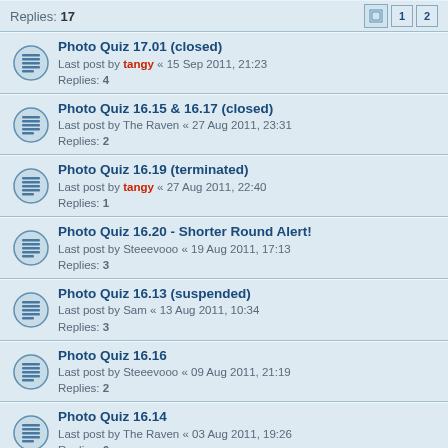Replies: 17 [pagination: 1, 2]
Photo Quiz 17.01 (closed)
Last post by tangy « 15 Sep 2011, 21:23
Replies: 4
Photo Quiz 16.15 & 16.17 (closed)
Last post by The Raven « 27 Aug 2011, 23:31
Replies: 2
Photo Quiz 16.19 (terminated)
Last post by tangy « 27 Aug 2011, 22:40
Replies: 1
Photo Quiz 16.20 - Shorter Round Alert!
Last post by Steeevooo « 19 Aug 2011, 17:13
Replies: 3
Photo Quiz 16.13 (suspended)
Last post by Sam « 13 Aug 2011, 10:34
Replies: 3
Photo Quiz 16.16
Last post by Steeevooo « 09 Aug 2011, 21:19
Replies: 2
Photo Quiz 16.14
Last post by The Raven « 03 Aug 2011, 19:26
Replies: 6
Photo Quiz 16.11 (closed)
Last post by tangy « 01 Aug 2011, 20:59
Replies: 2
Photo Quiz 16.12
Last post by Steeevooo « 26 Jul 2011, 21:19